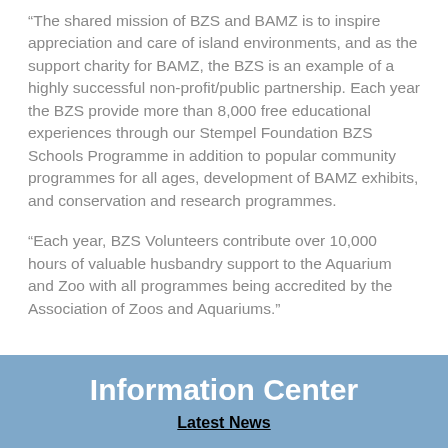“The shared mission of BZS and BAMZ is to inspire appreciation and care of island environments, and as the support charity for BAMZ, the BZS is an example of a highly successful non-profit/public partnership. Each year the BZS provide more than 8,000 free educational experiences through our Stempel Foundation BZS Schools Programme in addition to popular community programmes for all ages, development of BAMZ exhibits, and conservation and research programmes.
“Each year, BZS Volunteers contribute over 10,000 hours of valuable husbandry support to the Aquarium and Zoo with all programmes being accredited by the Association of Zoos and Aquariums.”
Information Center
Latest News